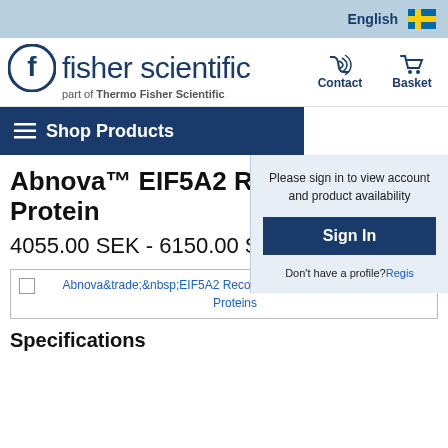English
[Figure (logo): Fisher Scientific logo — circle with F, text 'fisher scientific', subtitle 'part of Thermo Fisher Scientific']
Contact
Basket
Shop Products
Please sign in to view account and product availability
Sign In
Don't have a profile?Regis
Abnova™ EIF5A2 Recombinant Protein
4055.00 SEK - 6150.00 SEK
Abnova&trade;&nbsp;EIF5A2 Recombinant Protein: Proteins A-Z Proteins
Specifications